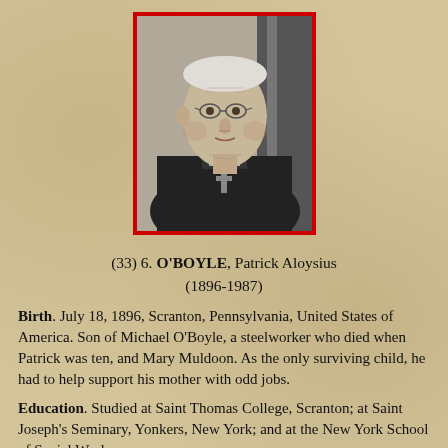[Figure (photo): Black and white portrait photograph of Patrick Aloysius O'Boyle, an elderly Catholic Cardinal wearing clerical robes and a pectoral cross, framed with a red border.]
(33) 6. O'BOYLE, Patrick Aloysius (1896-1987)
Birth. July 18, 1896, Scranton, Pennsylvania, United States of America. Son of Michael O'Boyle, a steelworker who died when Patrick was ten, and Mary Muldoon. As the only surviving child, he had to help support his mother with odd jobs.
Education. Studied at Saint Thomas College, Scranton; at Saint Joseph's Seminary, Yonkers, New York; and at the New York School of Social Work.
Priesthood. Ordained, May 21, 1921, New York, by Patrick Joseph Hayes, archbishop of New York. Served in the Archdiocese...